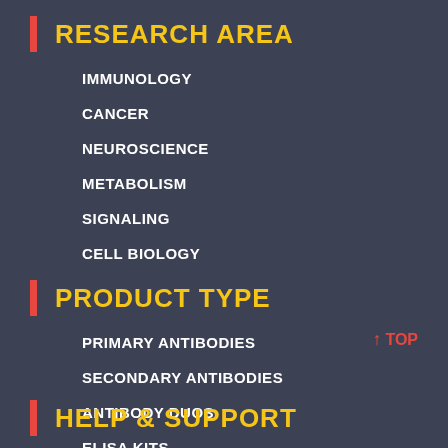RESEARCH AREA
IMMUNOLOGY
CANCER
NEUROSCIENCE
METABOLISM
SIGNALING
CELL BIOLOGY
PRODUCT TYPE
PRIMARY ANTIBODIES
SECONDARY ANTIBODIES
ANTIBODY DUOS
ELISA KITS
↑TOP
HELP & SUPPORT